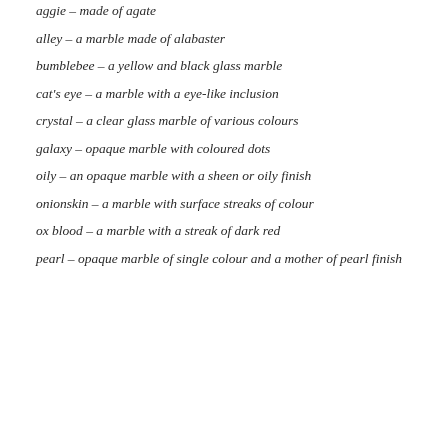aggie – made of agate
alley – a marble made of alabaster
bumblebee – a yellow and black glass marble
cat's eye – a marble with a eye-like inclusion
crystal – a clear glass marble of various colours
galaxy – opaque marble with coloured dots
oily – an opaque marble with a sheen or oily finish
onionskin – a marble with surface streaks of colour
ox blood – a marble with a streak of dark red
pearl – opaque marble of single colour and a mother of pearl finish